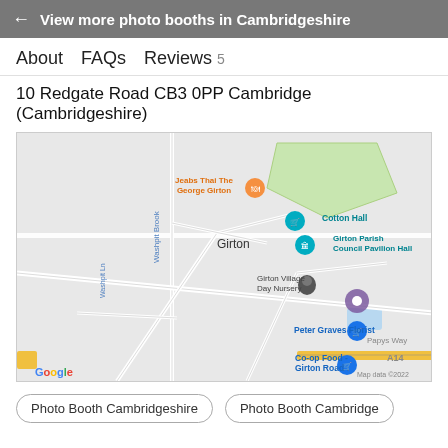← View more photo booths in Cambridgeshire
About    FAQs    Reviews 5
10 Redgate Road CB3 0PP Cambridge (Cambridgeshire)
[Figure (map): Google Maps screenshot showing Girton area of Cambridge, UK. Markers visible for Jeabs Thai The George Girton, Cotton Hall, Girton Parish Council Pavilion Hall, Girton Village Day Nursery, Peter Graves Florist, Co-op Food - Girton Road. A purple pin marks 10 Redgate Road. A14 road visible at bottom right. Map data ©2022.]
Photo Booth Cambridgeshire
Photo Booth Cambridge